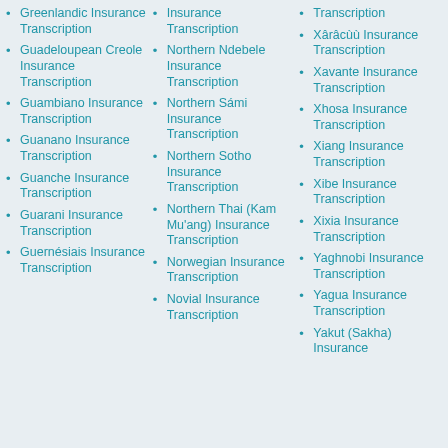Greenlandic Insurance Transcription
Guadeloupean Creole Insurance Transcription
Guambiano Insurance Transcription
Guanano Insurance Transcription
Guanche Insurance Transcription
Guarani Insurance Transcription
Guernésiais Insurance Transcription
Insurance Transcription
Northern Ndebele Insurance Transcription
Northern Sámi Insurance Transcription
Northern Sotho Insurance Transcription
Northern Thai (Kam Mu'ang) Insurance Transcription
Norwegian Insurance Transcription
Novial Insurance Transcription
Transcription
Xârâcùù Insurance Transcription
Xavante Insurance Transcription
Xhosa Insurance Transcription
Xiang Insurance Transcription
Xibe Insurance Transcription
Xixia Insurance Transcription
Yaghnobi Insurance Transcription
Yagua Insurance Transcription
Yakut (Sakha) Insurance